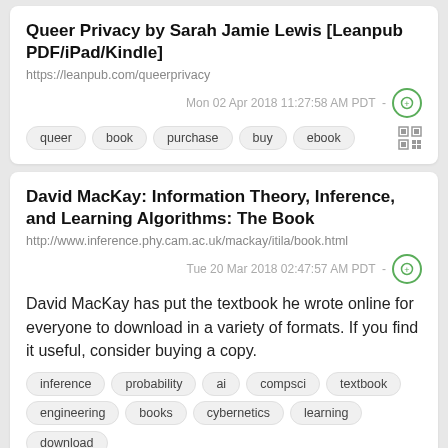Queer Privacy by Sarah Jamie Lewis [Leanpub PDF/iPad/Kindle]
https://leanpub.com/queerprivacy
Mon 02 Apr 2018 11:27:58 AM PDT -
queer
book
purchase
buy
ebook
David MacKay: Information Theory, Inference, and Learning Algorithms: The Book
http://www.inference.phy.cam.ac.uk/mackay/itila/book.html
Tue 20 Mar 2018 02:47:57 AM PDT -
David MacKay has put the textbook he wrote online for everyone to download in a variety of formats. If you find it useful, consider buying a copy.
inference
probability
ai
compsci
textbook
engineering
books
cybernetics
learning
download
education
ebooks
information
statistics